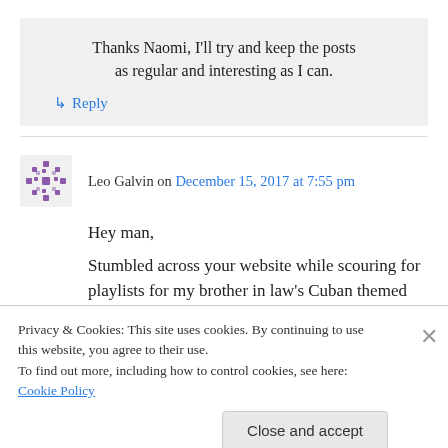Thanks Naomi, I'll try and keep the posts as regular and interesting as I can.
↳ Reply
Leo Galvin on December 15, 2017 at 7:55 pm
Hey man,
Stumbled across your website while scouring for playlists for my brother in law's Cuban themed
Privacy & Cookies: This site uses cookies. By continuing to use this website, you agree to their use.
To find out more, including how to control cookies, see here: Cookie Policy
Close and accept